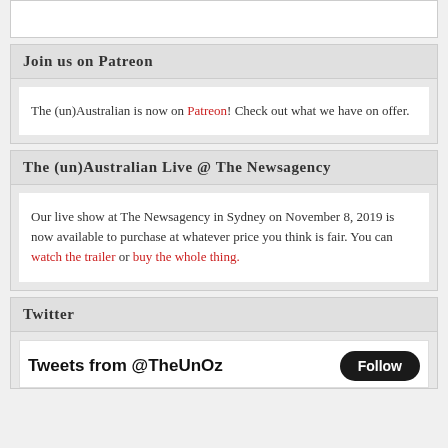Join us on Patreon
The (un)Australian is now on Patreon! Check out what we have on offer.
The (un)Australian Live @ The Newsagency
Our live show at The Newsagency in Sydney on November 8, 2019 is now available to purchase at whatever price you think is fair. You can watch the trailer or buy the whole thing.
Twitter
Tweets from @TheUnOz  Follow